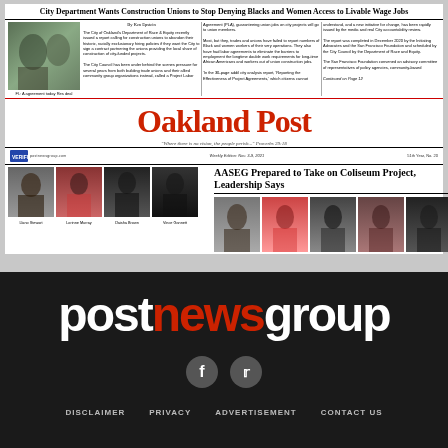City Department Wants Construction Unions to Stop Denying Blacks and Women Access to Livable Wage Jobs
By Ken Epstein

The City of Oakland's Department of Race & Equity recently issued a report calling for construction unions to abandon their historic, racially exclusionary hiring policies if they want the City to sign a contract partnering the unions providing the local share of construction of city-funded projects.

The City Council has been under behind the scenes pressure for several years from both building trade unions and their allied community group organizations instead, called a Project Labor Agreement (PLA), guaranteeing union jobs on city projects will go to union members.

Most, but they, trades and unions have failed to report numbers of Black and women workers of their very operations. They also have had labor agreements to eliminate the barriers to employment the longtime double work requirements for long-time African Americans and workers out of union construction jobs.

'In the 30-page addil city analysis report, 'Reporting the Effectiveness of Project Agreements,' which citizens cannot understand, and a new initiative for change, has been rapidly issued by the media and real City accountability review.

The report was completed in December 2020 by the Initiating Advocates and the San Francisco Foundation and scheduled by the City Council by the Department of Race and Equity.

The San Francisco Foundation convened an advisory committee of representatives of policy agencies, community-based

Continued on Page 12
Oakland Post
'Where there is no vision, the people perish...' Proverbs 29:18
Weekly Edition: Nov. 3-9, 2021     51th Year, No. 20
AASEG Prepared to Take on Coliseum Project, Leadership Says
[Figure (photo): Portrait photos of four people: Llano Stewart, Lorinne Murray, Daisha Brown, Vince Gannett]
[Figure (photo): Group photo of people associated with the AASEG Coliseum Project article]
[Figure (logo): postnewsgroup logo in white and red text on black background]
f
t
DISCLAIMER   PRIVACY   ADVERTISEMENT   CONTACT US